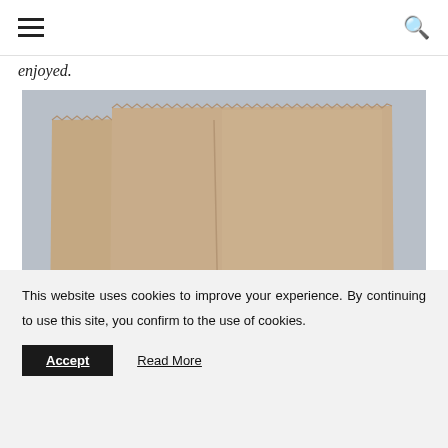☰  🔍
enjoyed.
[Figure (photo): Several kraft/brown paper bags laid flat on a light blue fabric/textile background, overlapping each other, showing their serrated/crimped top edges.]
This website uses cookies to improve your experience. By continuing to use this site, you confirm to the use of cookies.
Accept   Read More